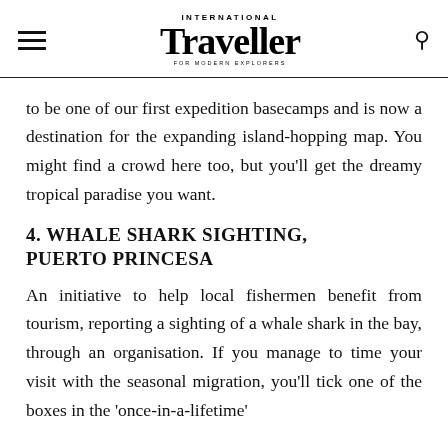INTERNATIONAL Traveller FOR MODERN EXPLORERS
to be one of our first expedition basecamps and is now a destination for the expanding island-hopping map. You might find a crowd here too, but you’ll get the dreamy tropical paradise you want.
4. WHALE SHARK SIGHTING, PUERTO PRINCESA
An initiative to help local fishermen benefit from tourism, reporting a sighting of a whale shark in the bay, through an organisation. If you manage to time your visit with the seasonal migration, you’ll tick one of the boxes in the ‘once-in-a-lifetime’